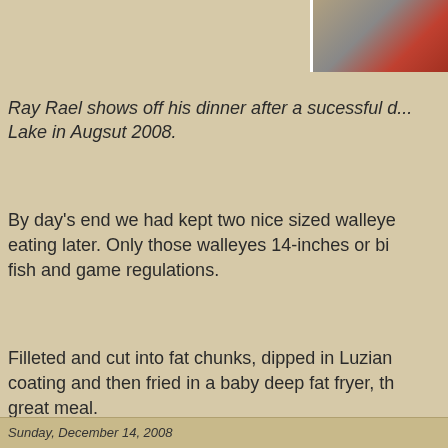[Figure (photo): Partial photo of a person in a red shirt, cropped at top of page]
Ray Rael shows off his dinner after a sucessful d... Lake in Augsut 2008.
By day's end we had kept two nice sized walleye... eating later. Only those walleyes 14-inches or bi... fish and game regulations.
Filleted and cut into fat chunks, dipped in Luzian... coating and then fried in a baby deep fat fryer, th... great meal.
No comments:
Sunday, December 14, 2008